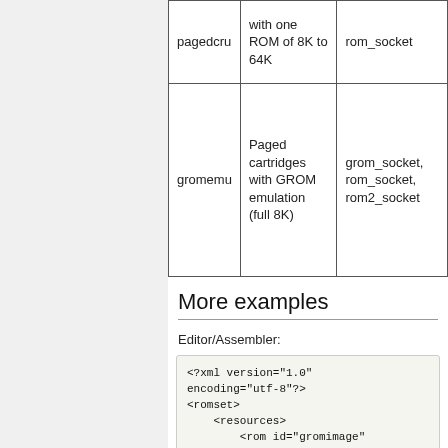|  |  |  |
| --- | --- | --- |
| pagedcru | with one ROM of 8K to 64K | rom_socket |
| gromemu | Paged cartridges with GROM emulation (full 8K) | grom_socket, rom_socket, rom2_socket |
More examples
Editor/Assembler:
<?xml version="1.0" encoding="utf-8"?>
<romset>
    <resources>
        <rom id="gromimage" file="ed-assmg.bin"/>
    </resources>